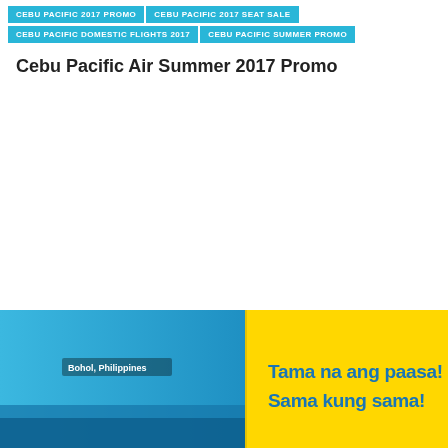CEBU PACIFIC 2017 PROMO | CEBU PACIFIC 2017 SEAT SALE | CEBU PACIFIC DOMESTIC FLIGHTS 2017 | CEBU PACIFIC SUMMER PROMO
Cebu Pacific Air Summer 2017 Promo
[Figure (illustration): Cebu Pacific promotional banner showing Bohol, Philippines with blue ocean/sky gradient on the left and yellow background on the right with text 'Tama na ang paasa! Sama kung sama!']